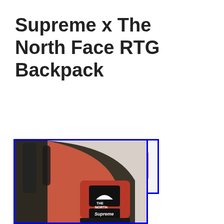Supreme x The North Face RTG Backpack
[Figure (photo): Small thumbnail photo of a Supreme x The North Face RTG Backpack (orange and black) inside a blue rectangle border]
[Figure (photo): Large close-up photo of the Supreme x The North Face RTG Backpack showing orange and dark olive/black material with The North Face logo patch and Supreme logo patch, inside a blue rectangle border]